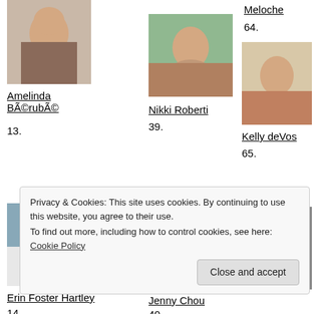[Figure (photo): Portrait photo of Amelinda Bérubé]
Amelinda Bérubé
13.
[Figure (photo): Portrait photo of Nikki Roberti]
Nikki Roberti
39.
Meloche
64.
[Figure (photo): Portrait photo of Kelly deVos]
Kelly deVos
65.
[Figure (photo): Portrait photo of Erin Foster Hartley]
Erin Foster Hartley
14.
[Figure (photo): Portrait photo of Jenny Chou]
Jenny Chou
40.
[Figure (photo): Group photo - two women]
Privacy & Cookies: This site uses cookies. By continuing to use this website, you agree to their use. To find out more, including how to control cookies, see here: Cookie Policy
Close and accept